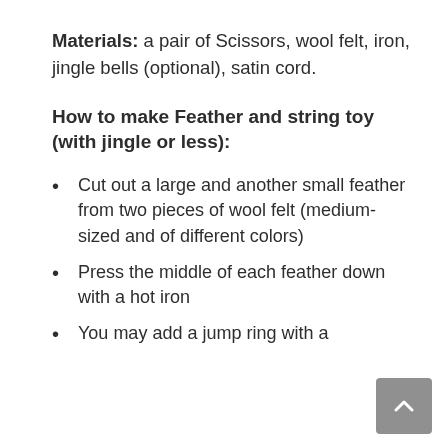Materials: a pair of Scissors, wool felt, iron, jingle bells (optional), satin cord.
How to make Feather and string toy (with jingle or less):
Cut out a large and another small feather from two pieces of wool felt (medium-sized and of different colors)
Press the middle of each feather down with a hot iron
You may add a jump ring with a